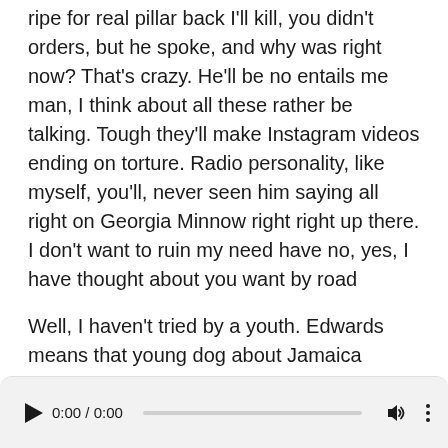ripe for real pillar back I'll kill, you didn't orders, but he spoke, and why was right now? That's crazy. He'll be no entails me man, I think about all these rather be talking. Tough they'll make Instagram videos ending on torture. Radio personality, like myself, you'll, never seen him saying all right on Georgia Minnow right right up there. I don't want to ruin my need have no, yes, I have thought about you want by road
Well, I haven't tried by a youth. Edwards means that young dog about Jamaica videos, anyone told to join them in our man about you, when you're going to run upon George him and tell him put respect on your name, my fragmentary of our minds, nay hello. This is me Bobby was broke the morning. Albania may sell me, Dull, while your black people
[Figure (other): Audio player UI element showing play button, time display 0:00 / 0:00, progress bar, volume icon, and more options icon on a light grey rounded background]